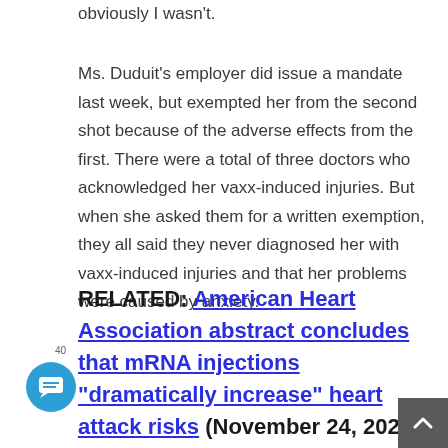obviously I wasn't.
Ms. Duduit's employer did issue a mandate last week, but exempted her from the second shot because of the adverse effects from the first. There were a total of three doctors who acknowledged her vaxx-induced injuries. But when she asked them for a written exemption, they all said they never diagnosed her with vaxx-induced injuries and that her problems were caused by anxiety.
RELATED: American Heart Association abstract concludes that mRNA injections "dramatically increase" heart attack risks (November 24, 2021)